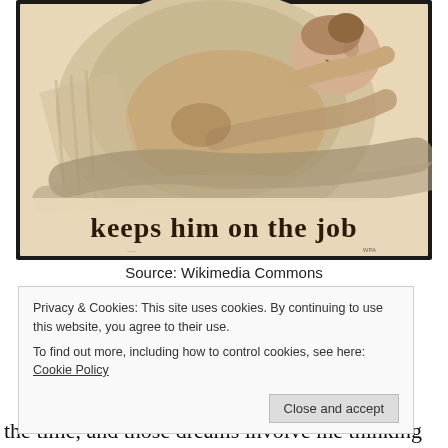[Figure (illustration): Vintage propaganda-style poster illustration showing a stylized figure reclining, with bold text reading 'keeps him on the job' at the bottom of the image.]
Source: Wikimedia Commons
Privacy & Cookies: This site uses cookies. By continuing to use this website, you agree to their use.
To find out more, including how to control cookies, see here: Cookie Policy
Close and accept
the time, and those dreams involve me thinking